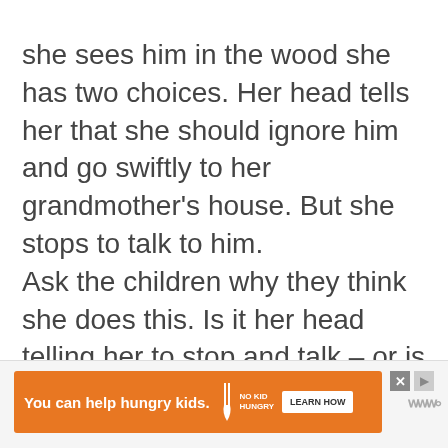she sees him in the wood she has two choices. Her head tells her that she should ignore him and go swiftly to her grandmother's house. But she stops to talk to him.
Ask the children why they think she does this. Is it her head telling her to stop and talk – or is it her feelings – was she thinking and remembering what her mother had said? What kind of ending would this story have had if Red Riding Hood had ignored the wolf.
[Figure (other): Orange advertisement banner: 'You can help hungry kids.' with No Kid Hungry logo and 'LEARN HOW' button. Has close (X) button and arrow. Side shows partial logo letters.]